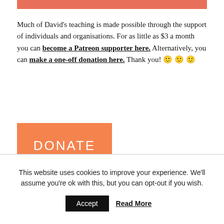[Figure (other): Orange/salmon horizontal banner bar at top]
Much of David's teaching is made possible through the support of individuals and organisations. For as little as $3 a month you can become a Patreon supporter here. Alternatively, you can make a one-off donation here. Thank you! 🙂 🙂 🙂
[Figure (other): Orange DONATE button]
This website uses cookies to improve your experience. We'll assume you're ok with this, but you can opt-out if you wish.
Accept  Read More